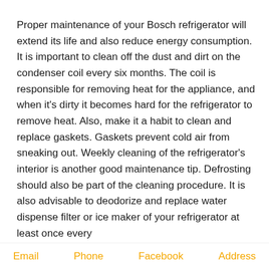Proper maintenance of your Bosch refrigerator will extend its life and also reduce energy consumption. It is important to clean off the dust and dirt on the condenser coil every six months. The coil is responsible for removing heat for the appliance, and when it's dirty it becomes hard for the refrigerator to remove heat. Also, make it a habit to clean and replace gaskets. Gaskets prevent cold air from sneaking out. Weekly cleaning of the refrigerator's interior is another good maintenance tip. Defrosting should also be part of the cleaning procedure. It is also advisable to deodorize and replace water dispense filter or ice maker of your refrigerator at least once every
Email    Phone    Facebook    Address